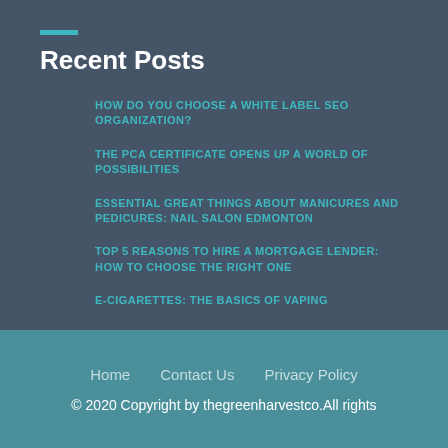Recent Posts
HOW DO YOU CHOOSE A WHITE LABEL SEO ORGANIZATION?
THE PCA CERTIFICATE OPENS UP A WORLD OF POSSIBILITIES
ESSENTIAL GREAT THINGS ABOUT MANICURES AND PEDICURES: NAIL SALON EDMONTON
TOP 5 REASONS TO HIRE A MORTGAGE LENDER: HOW TO CHOOSE THE RIGHT ONE
E-CIGARETTES: THE BASICS OF VAPING
Home   Contact Us   Privacy Policy
© 2020 Copyright by thegreenharvestco.All rights